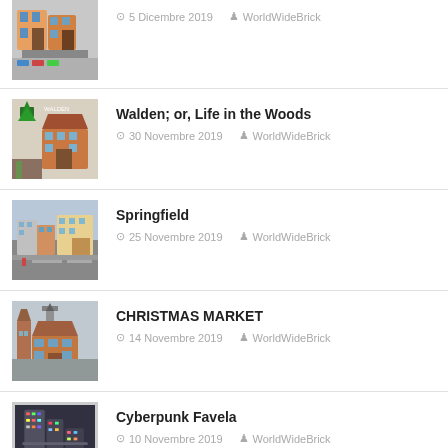5 Dicembre 2019 | WorldWideBrick
Walden; or, Life in the Woods | 30 Novembre 2019 | WorldWideBrick
Springfield | 25 Novembre 2019 | WorldWideBrick
CHRISTMAS MARKET | 14 Novembre 2019 | WorldWideBrick
Cyberpunk Favela | 10 Novembre 2019 | WorldWideBrick